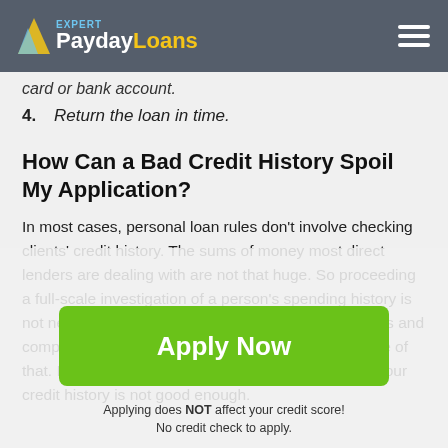Expert PaydayLoans
card or bank account.
4. Return the loan in time.
How Can a Bad Credit History Spoil My Application?
In most cases, personal loan rules don't involve checking clients' credit history. The sums of money most direct lenders are dealing with are not that huge. So proceeding a full-scale investigation of a person's spending history is not necessary. Moreover, we work with private lenders and companies, and your bank does not have to be aware of that. In other words, one can enjoy you loan even if your credit history is not good enough.
Apply Now
Applying does NOT affect your credit score!
No credit check to apply.